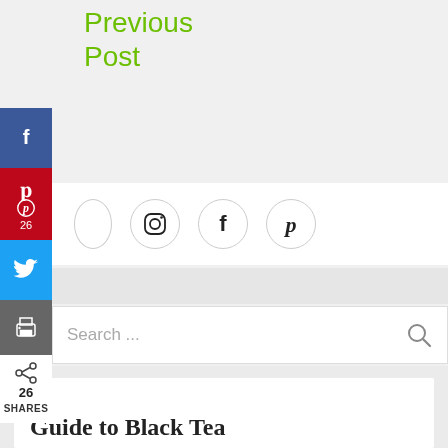Previous Post
[Figure (infographic): Social share sidebar with Facebook, Pinterest (26), Twitter, Print, and Share (26 SHARES) buttons on the left edge]
[Figure (infographic): Row of social media icon circles: Instagram, Facebook, Pinterest]
Search ...
Guide to Black Tea